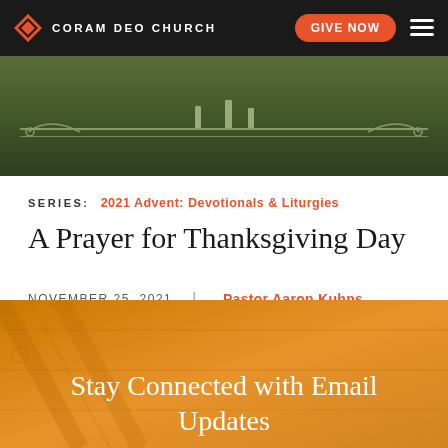CORAM DEO CHURCH | GIVE NOW
[Figure (photo): Dark olive green decorative banner image with ornamental border and candle motif]
SERIES: 2021 Advent: Devotionals & Liturgies
A Prayer for Thanksgiving Day
NOVEMBER 25, 2021 | Pastor Aaron Kuhns
Stay Connected with Email Updates